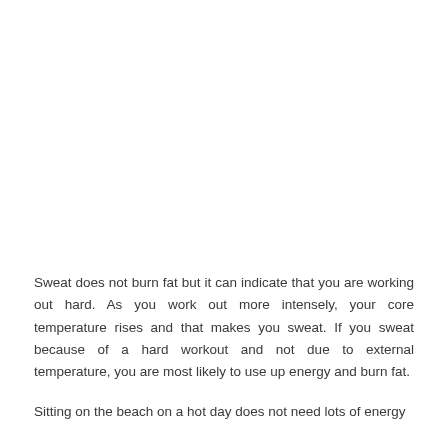Sweat does not burn fat but it can indicate that you are working out hard. As you work out more intensely, your core temperature rises and that makes you sweat. If you sweat because of a hard workout and not due to external temperature, you are most likely to use up energy and burn fat.
Sitting on the beach on a hot day does not need lots of energy